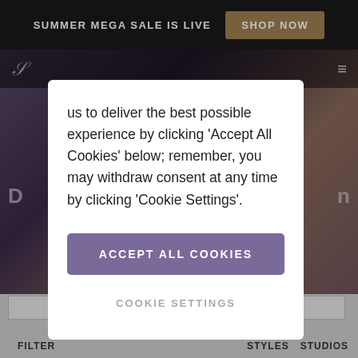SUMMER MEGA SALE IS LIVE   SHOP NOW
[Figure (screenshot): Background image of luxury accessories including jewelry and leather goods in dark tones]
us to deliver the best possible experience by clicking 'Accept All Cookies' below; remember, you may withdraw consent at any time by clicking 'Cookie Settings'.
ACCEPT ALL COOKIES
COOKIE SETTINGS
FILTER   STYLES   STUDIOS